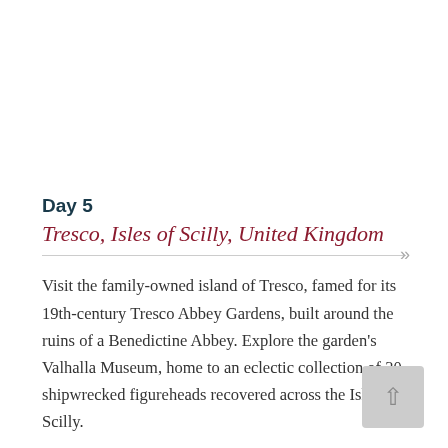Day 5
Tresco, Isles of Scilly, United Kingdom
Visit the family-owned island of Tresco, famed for its 19th-century Tresco Abbey Gardens, built around the ruins of a Benedictine Abbey. Explore the garden's Valhalla Museum, home to an eclectic collection of 30 shipwrecked figureheads recovered across the Isles of Scilly.